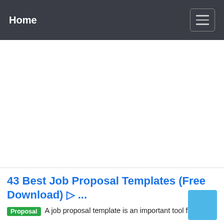Home
[Figure (other): White blank advertisement area]
43 Best Job Proposal Templates (Free Download) ▷ ...
Proposal  A job proposal template is an important tool for